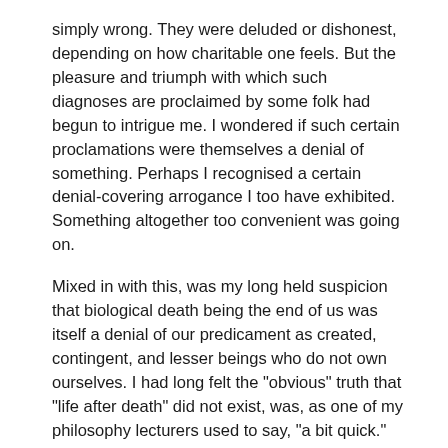simply wrong. They were deluded or dishonest, depending on how charitable one feels. But the pleasure and triumph with which such diagnoses are proclaimed by some folk had begun to intrigue me. I wondered if such certain proclamations were themselves a denial of something. Perhaps I recognised a certain denial-covering arrogance I too have exhibited. Something altogether too convenient was going on.
Mixed in with this, was my long held suspicion that biological death being the end of us was itself a denial of our predicament as created, contingent, and lesser beings who do not own ourselves. I had long felt the "obvious" truth that "life after death" did not exist, was, as one of my philosophy lecturers used to say, "a bit quick." And now I was faced with the thought that "life after death" was, given my experience of God, more likely than not!